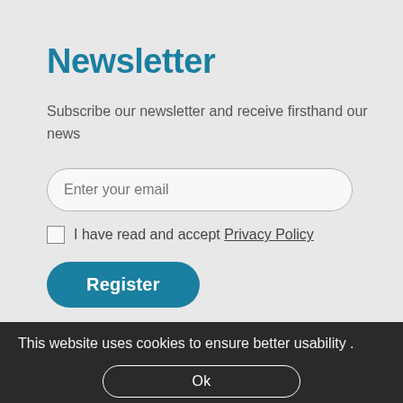Newsletter
Subscribe our newsletter and receive firsthand our news
Enter your email
I have read and accept Privacy Policy
Register
This website uses cookies to ensure better usability .
More information
Ok